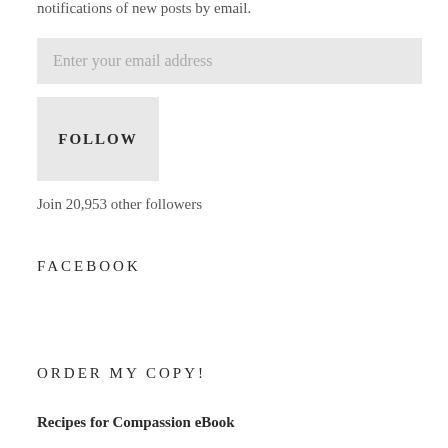notifications of new posts by email.
Enter your email address
FOLLOW
Join 20,953 other followers
FACEBOOK
ORDER MY COPY!
Recipes for Compassion eBook